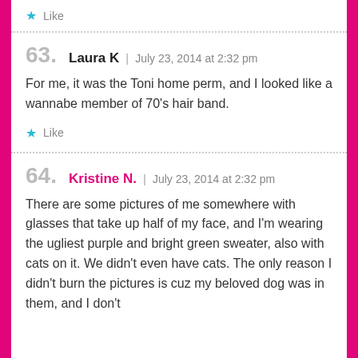Like
63. Laura K | July 23, 2014 at 2:32 pm
For me, it was the Toni home perm, and I looked like a wannabe member of 70's hair band.
Like
64. Kristine N. | July 23, 2014 at 2:32 pm
There are some pictures of me somewhere with glasses that take up half of my face, and I'm wearing the ugliest purple and bright green sweater, also with cats on it. We didn't even have cats. The only reason I didn't burn the pictures is cuz my beloved dog was in them, and I don't